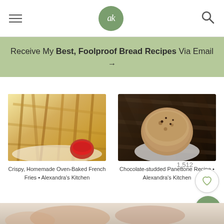Alexandra's Kitchen — navigation header with logo and search
Receive My Best, Foolproof Bread Recipes Via Email →
[Figure (photo): Crispy homemade oven-baked french fries on a plate with ketchup]
Crispy, Homemade Oven-Baked French Fries • Alexandra's Kitchen
[Figure (photo): Chocolate-studded panettone loaf on dark wood background]
Chocolate-studded Panettone Recipe • Alexandra's Kitchen
1,512
[Figure (photo): Bottom strip showing partial food image]